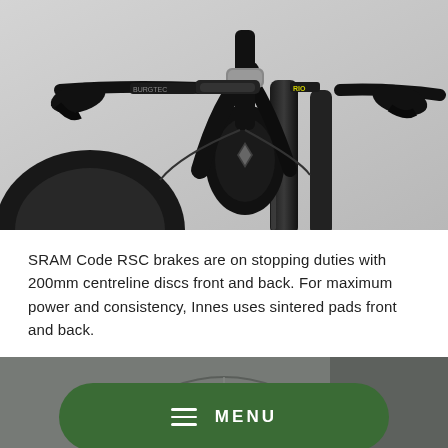[Figure (photo): Close-up photo of a mountain bike front end, showing handlebars with Burgtec stem, suspension fork, head tube, and front wheel with knobby tire. Black components against a light grey background.]
SRAM Code RSC brakes are on stopping duties with 200mm centreline discs front and back. For maximum power and consistency, Innes uses sintered pads front and back.
[Figure (photo): Partial photo of a bicycle wheel with spokes visible, overlaid with a dark green rounded rectangle button displaying a hamburger menu icon and the text MENU.]